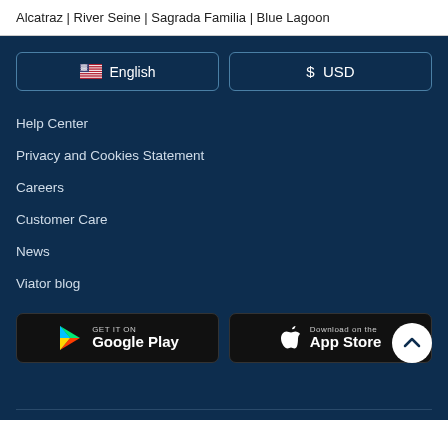Alcatraz | River Seine | Sagrada Familia | Blue Lagoon
[Figure (other): Language selector button with US flag icon showing 'English']
[Figure (other): Currency selector button showing '$ USD']
Help Center
Privacy and Cookies Statement
Careers
Customer Care
News
Viator blog
[Figure (logo): Google Play store download button]
[Figure (logo): Apple App Store download button]